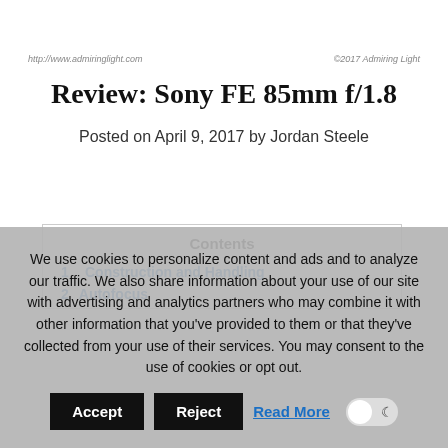http://www.admiringlight.com | ©2017 Admiring Light
Review: Sony FE 85mm f/1.8
Posted on April 9, 2017 by Jordan Steele
Contents
1  Construction and Handling
2  Autofocus
We use cookies to personalize content and ads and to analyze our traffic. We also share information about your use of our site with advertising and analytics partners who may combine it with other information that you've provided to them or that they've collected from your use of their services. You may consent to the use of cookies or opt out.